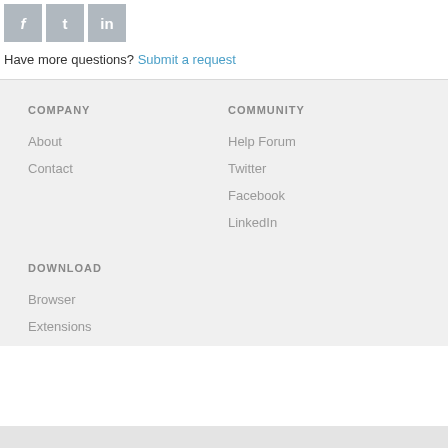[Figure (other): Three social media icon buttons for Facebook, Twitter, and LinkedIn in grey square tiles]
Have more questions? Submit a request
COMPANY
COMMUNITY
About
Help Forum
Contact
Twitter
Facebook
LinkedIn
DOWNLOAD
Browser
Extensions